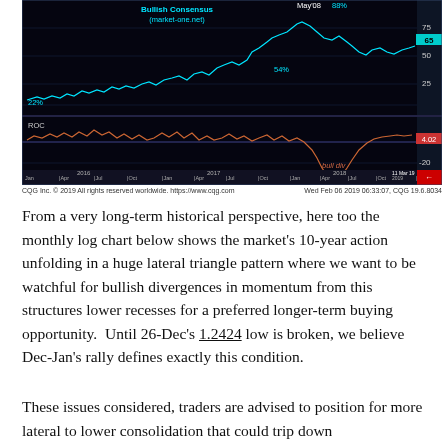[Figure (continuous-plot): Two-panel financial chart on dark background. Top panel: Bullish Consensus line chart (market-one.net) from 2016 to mid-2019, showing values labeled 22% (left, 2016), 54% (mid-right), and 88% (May'08 peak). Y-axis shows 25, 50, 75 levels; current value highlighted at 65 in cyan box. Bottom panel: ROC (Rate of Change) indicator in red/orange, oscillating around 0. Label 'bull div' appears near 2019 trough. Y-axis shows 0, -20, and current value 4.02 in red box. X-axis shows Jan, Apr, Jul, Oct for years 2016, 2017, 2018, 2019. Date marker: 11 Mar 19. Both panels have blue gridlines on black background.]
CQG Inc. © 2019 All rights reserved worldwide. https://www.cqg.com    Wed Feb 06 2019 06:33:07, CQG 19.6.8034
From a very long-term historical perspective, here too the monthly log chart below shows the market's 10-year action unfolding in a huge lateral triangle pattern where we want to be watchful for bullish divergences in momentum from this structures lower recesses for a preferred longer-term buying opportunity.  Until 26-Dec's 1.2424 low is broken, we believe Dec-Jan's rally defines exactly this condition.
These issues considered, traders are advised to position for more lateral to lower consolidation that could trip down